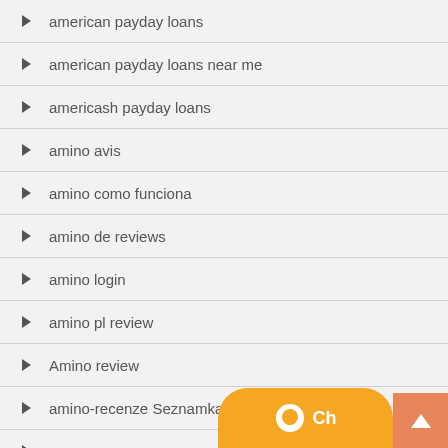american payday loans
american payday loans near me
americash payday loans
amino avis
amino como funciona
amino de reviews
amino login
amino pl review
Amino review
amino-recenze Seznamka